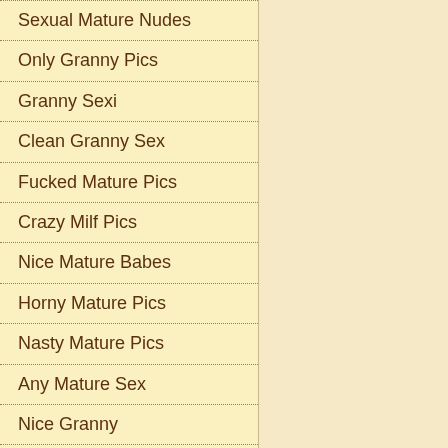Sexual Mature Nudes
Only Granny Pics
Granny Sexi
Clean Granny Sex
Fucked Mature Pics
Crazy Milf Pics
Nice Mature Babes
Horny Mature Pics
Nasty Mature Pics
Any Mature Sex
Nice Granny
Granny Pics